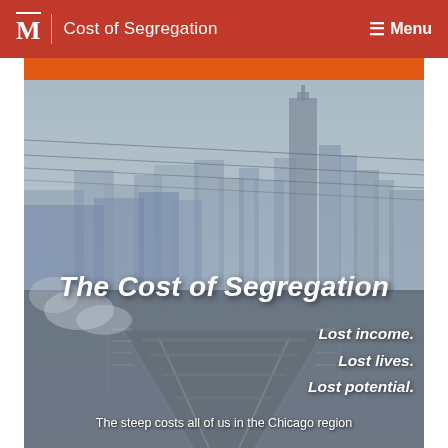M | Cost of Segregation   ≡ Menu
[Figure (photo): Black and white photograph of Chicago skyline viewed from elevated train tracks, with the Willis Tower prominent in the background, power lines crossing overhead, and misty atmospheric conditions.]
The Cost of Segregation
Lost income.
Lost lives.
Lost potential.
The steep costs all of us in the Chicago region